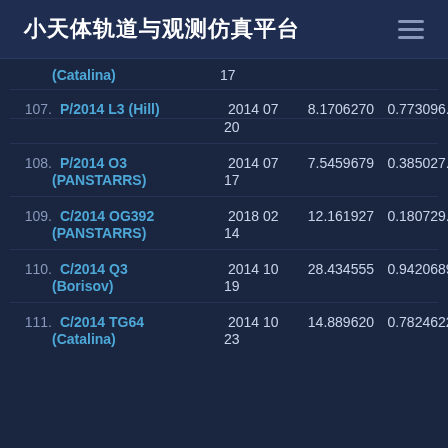小天体轨道与观测仿真平台
| # | Name | Date | Val1 | Val2 | Val3 |
| --- | --- | --- | --- | --- | --- |
|  | (Catalina) | 17 |  |  |  |
| 107. | P/2014 L3 (Hill) | 2014 07 20 | 8.1706270 | 0.77309 | 6.26 |
| 108. | P/2014 O3 (PANSTARRS) | 2014 07 17 | 7.5459679 | 0.38502 | 7.80 |
| 109. | C/2014 OG392 (PANSTARRS) | 2018 02 14 | 12.161927 | 0.18072 | 9.04 |
| 110. | C/2014 Q3 (Borisov) | 2014 10 19 | 28.434555 | 0.94206 | 89.9 |
| 111. | C/2014 TG64 (Catalina) | 2014 10 23 | 14.889620 | 0.78246 | 22.2 |